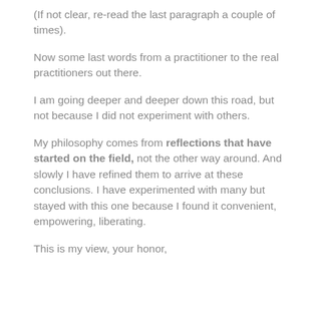(If not clear, re-read the last paragraph a couple of times).
Now some last words from a practitioner to the real practitioners out there.
I am going deeper and deeper down this road, but not because I did not experiment with others.
My philosophy comes from reflections that have started on the field, not the other way around. And slowly I have refined them to arrive at these conclusions. I have experimented with many but stayed with this one because I found it convenient, empowering, liberating.
This is my view, your honor,